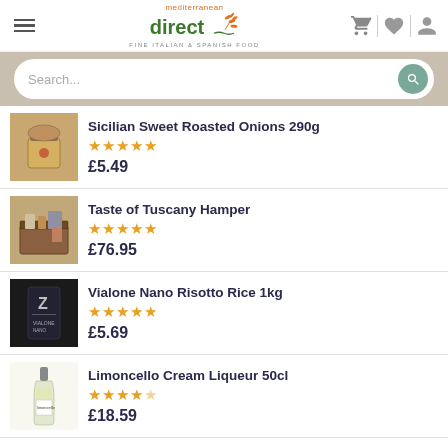[Figure (logo): Mediterranean Direct logo - fine Italian and Spanish food, with orange leaf icon]
Search...
Sicilian Sweet Roasted Onions 290g
★★★★★
£5.49
Taste of Tuscany Hamper
★★★★★
£76.95
Vialone Nano Risotto Rice 1kg
★★★★★
£5.69
Limoncello Cream Liqueur 50cl
★★★★½
£18.59